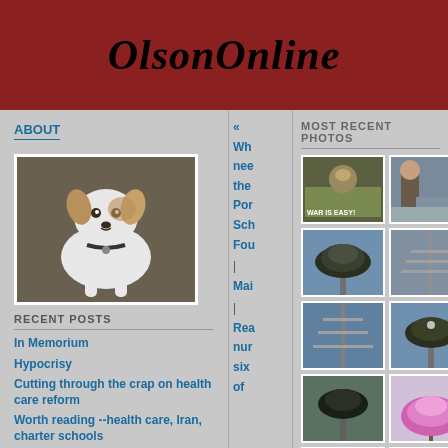OlsonOnline
ABOUT
[Figure (photo): Dog (Jack Russell Terrier) sitting, white with brown markings]
RECENT POSTS
In Memorium
Hypocrisy
Cutting through the crap on health care reform
Worth reading --health care, Iran, charter schools
Health care on 'The
« Wh nee the Por Sch Fou | Mai | Rea nur six of
MOST RECENT PHOTOS
[Figure (photo): WAR IS EASY! poster/photo]
[Figure (photo): Man standing outdoors]
[Figure (photo): Bird nest on pole, sky background]
[Figure (photo): Tall tower or mast against sky]
[Figure (photo): Tower or mast against cloudy sky]
[Figure (photo): Bird nest on pole close-up]
[Figure (photo): Bird nest on pole with sky]
[Figure (photo): Pink flowering tree]
[Figure (photo): Bird nest on tall structure]
[Figure (photo): Group of people outdoors]